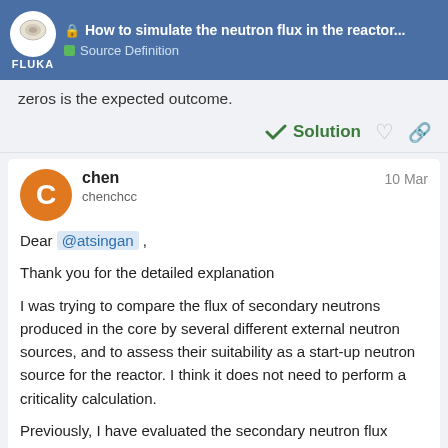How to simulate the neutron flux in the reactor... | Source Definition
zeros is the expected outcome.
Solution
chen chenchcc 10 Mar
Dear @atsingan ,
Thank you for the detailed explanation
I was trying to compare the flux of secondary neutrons produced in the core by several different external neutron sources, and to assess their suitability as a start-up neutron source for the reactor. I think it does not need to perform a criticality calculation.
Previously, I have evaluated the secondary neutron flux produced in the core using protons as external source. I think it is better to use the same software to calculate the results, so as